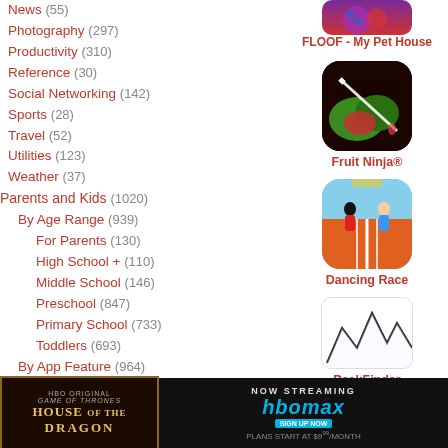News (55)
Photography (297)
Productivity (310)
Reference (30)
Social Networking (142)
Sports (28)
Travel (52)
Utilities (123)
Weather (37)
Parents and Kids (1020)
By Age Range (939)
For Parents (130)
High School + (110)
Middle School (146)
Preschool (847)
Primary School (733)
Toddlers (693)
By App Feature (964)
Animals (211)
Art (377)
Counting (66)
Creativity
Geography
Health
[Figure (screenshot): FLOOF - My Pet House app icon]
FLOOF - My Pet House
[Figure (screenshot): Fruit Ninja app icon]
Fruit Ninja®
[Figure (screenshot): Dancing Race app icon]
Dancing Race
[Figure (screenshot): PeakFinder app icon]
PeakFinder
[Figure (screenshot): Pro app icon]
[Figure (screenshot): HBO Max House of the Dragon advertisement banner]